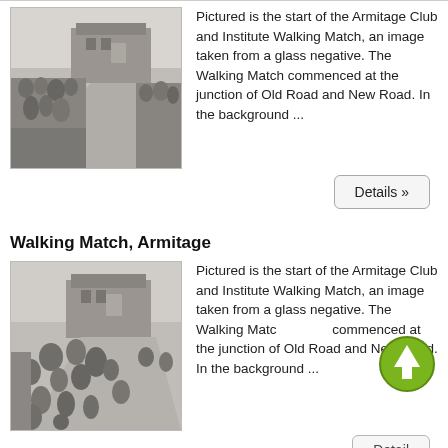[Figure (photo): Black and white historical photograph showing the start of the Armitage Club and Institute Walking Match, taken from a glass negative. A crowd of people visible on a road with brick buildings in background.]
Pictured is the start of the Armitage Club and Institute Walking Match, an image taken from a glass negative. The Walking Match commenced at the junction of Old Road and New Road. In the background ...
Details »
Walking Match, Armitage
[Figure (photo): Black and white historical photograph showing the start of the Armitage Club and Institute Walking Match. A crowd of people visible on a road with brick buildings in background, similar to first image.]
Pictured is the start of the Armitage Club and Institute Walking Match, an image taken from a glass negative. The Walking Match commenced at the junction of Old Road and New Road. In the background ...
Details »